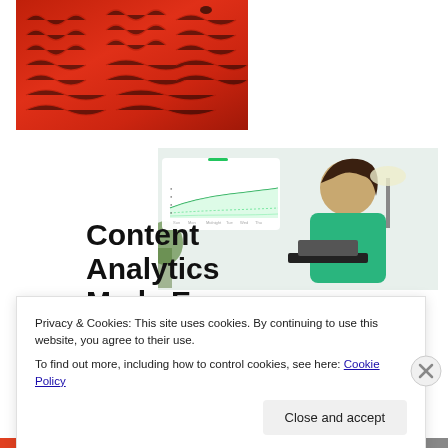[Figure (photo): Close-up photo of a red cable-knit sweater]
[Figure (screenshot): Composite image: analytics line chart interface screenshot overlaid with a smiling woman in a green sweater working at a laptop]
Content Analytics Made Easy
Privacy & Cookies: This site uses cookies. By continuing to use this website, you agree to their use.
To find out more, including how to control cookies, see here: Cookie Policy
Close and accept